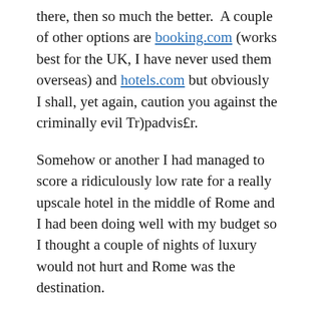there, then so much the better.  A couple of other options are booking.com (works best for the UK, I have never used them overseas) and hotels.com but obviously I shall, yet again, caution you against the criminally evil Tr)padvis£r.
Somehow or another I had managed to score a ridiculously low rate for a really upscale hotel in the middle of Rome and I had been doing well with my budget so I thought a couple of nights of luxury would not hurt and Rome was the destination.
Due to to my earlyish and relatively quiet night the evening before I awoke at a reasonable